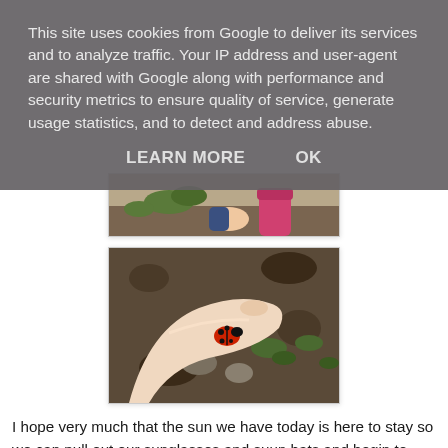This site uses cookies from Google to deliver its services and to analyze traffic. Your IP address and user-agent are shared with Google along with performance and security metrics to ensure quality of service, generate usage statistics, and to detect and address abuse.
LEARN MORE    OK
[Figure (photo): Partial view of a child's hands and pink wellington boots near garden plants and soil, visible at the bottom portion.]
[Figure (photo): A ladybird (ladybug) resting on someone's finger, surrounded by soil and small green plants in a garden.]
I hope very much that the sun we have today is here to stay so we can pull out our sunglasses and suun hats and begin to enjoy the garden on a daily basis. In the meantime I'm